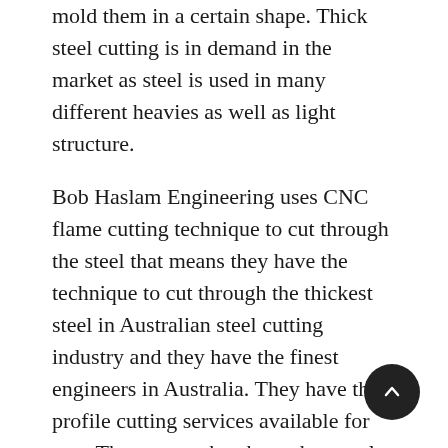mold them in a certain shape. Thick steel cutting is in demand in the market as steel is used in many different heavies as well as light structure.
Bob Haslam Engineering uses CNC flame cutting technique to cut through the steel that means they have the technique to cut through the thickest steel in Australian steel cutting industry and they have the finest engineers in Australia. They have the profile cutting services available for you. That means they have the metal plate cutting machines that utilize plasma or oxy-fuel cutting technology. Oxy-fuel profile cutting is very economical especially for heavy material up to 35 inches that is 900 mm. of course the heat is adjusted according to nature of the material they are cutting and shaping and this is